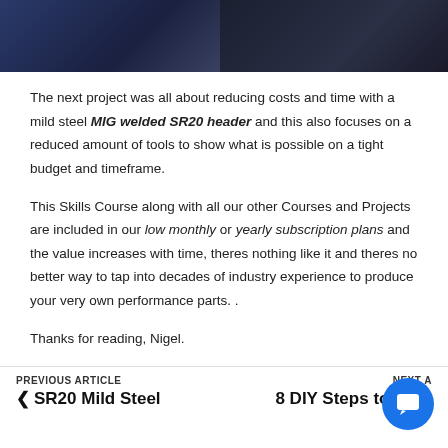[Figure (photo): Two side-by-side dark photos showing welding/fabrication work: left shows a blue-lit welding scene, right shows metal components/machinery]
The next project was all about reducing costs and time with a mild steel MIG welded SR20 header and this also focuses on a reduced amount of tools to show what is possible on a tight budget and timeframe.
This Skills Course along with all our other Courses and Projects are included in our low monthly or yearly subscription plans and the value increases with time, theres nothing like it and theres no better way to tap into decades of industry experience to produce your very own performance parts. .
Thanks for reading, Nigel.
PREVIOUS ARTICLE < SR20 Mild Steel   NEXT A 8 DIY Steps to an >